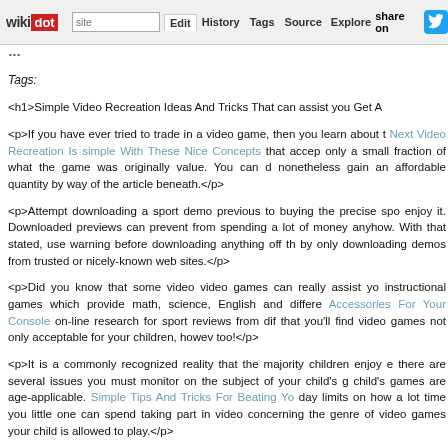wiki dot | site | Edit | History | Tags | Source | Explore | Share on Twitter
Tags:
<h1>Simple Video Recreation Ideas And Tricks That can assist you Get A
<p>If you have ever tried to trade in a video game, then you learn about t Next Video Recreation Is simple With These Nice Concepts that accep only a small fraction of what the game was originally value. You can d nonetheless gain an affordable quantity by way of the article beneath.</p>
<p>Attempt downloading a sport demo previous to buying the precise spo enjoy it. Downloaded previews can prevent from spending a lot of money anyhow. With that stated, use warning before downloading anything off th by only downloading demos from trusted or nicely-known web sites.</p>
<p>Did you know that some video video games can really assist yo instructional games which provide math, science, English and differe Accessories For Your Console on-line research for sport reviews from dif that you'll find video games not only acceptable for your children, howev too!</p>
<p>It is a commonly recognized reality that the majority children enjoy e there are several issues you must monitor on the subject of your child's g child's games are age-applicable. Simple Tips And Tricks For Beating Yo day limits on how a lot time you little one can spend taking part in video concerning the genre of video games your child is allowed to play.</p>
<p>Rent before you buy! It's not uncommon to buy a new game, take it h it is nowhere close to the enjoyable you thought it can be. It might not a